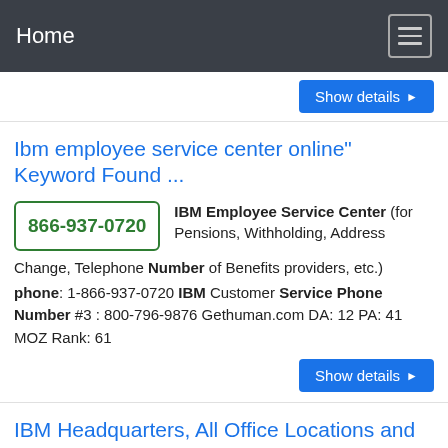Home
Show details ▶
Ibm employee service center online" Keyword Found ...
866-937-0720  IBM Employee Service Center (for Pensions, Withholding, Address Change, Telephone Number of Benefits providers, etc.) phone: 1-866-937-0720 IBM Customer Service Phone Number #3 : 800-796-9876 Gethuman.com DA: 12 PA: 41 MOZ Rank: 61
Show details ▶
IBM Headquarters, All Office Locations and Addresses